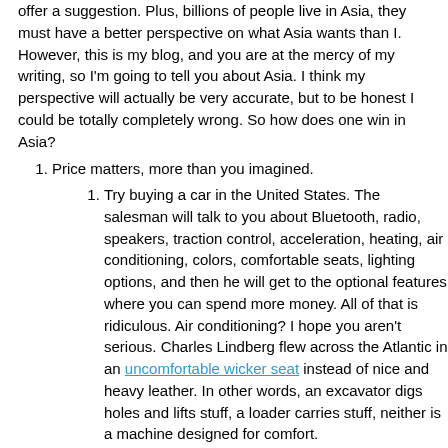offer a suggestion. Plus, billions of people live in Asia, they must have a better perspective on what Asia wants than I. However, this is my blog, and you are at the mercy of my writing, so I'm going to tell you about Asia. I think my perspective will actually be very accurate, but to be honest I could be totally completely wrong. So how does one win in Asia?
Price matters, more than you imagined.
Try buying a car in the United States. The salesman will talk to you about Bluetooth, radio, speakers, traction control, acceleration, heating, air conditioning, colors, comfortable seats, lighting options, and then he will get to the optional features where you can spend more money. All of that is ridiculous. Air conditioning? I hope you aren't serious. Charles Lindberg flew across the Atlantic in an uncomfortable wicker seat instead of nice and heavy leather. In other words, an excavator digs holes and lifts stuff, a loader carries stuff, neither is a machine designed for comfort.